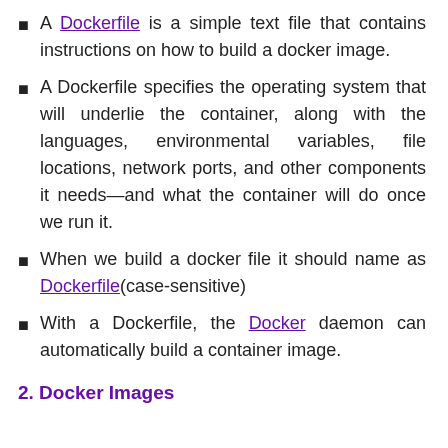A Dockerfile is a simple text file that contains instructions on how to build a docker image.
A Dockerfile specifies the operating system that will underlie the container, along with the languages, environmental variables, file locations, network ports, and other components it needs—and what the container will do once we run it.
When we build a docker file it should name as Dockerfile(case-sensitive)
With a Dockerfile, the Docker daemon can automatically build a container image.
2. Docker Images